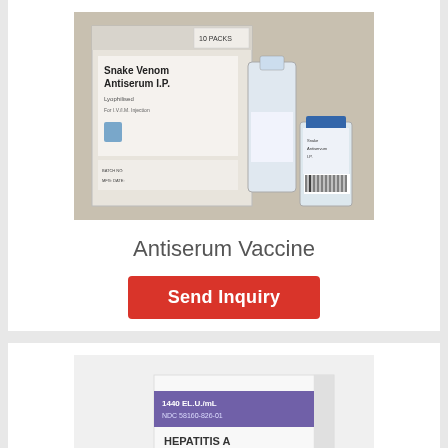[Figure (photo): Photo of Snake Venom Antiserum I.P. product box with vials]
Antiserum Vaccine
Send Inquiry
[Figure (photo): Photo of Hepatitis A Vaccine Inactivated (HAVRIX) box with vial]
Hepatitis A Vaccine